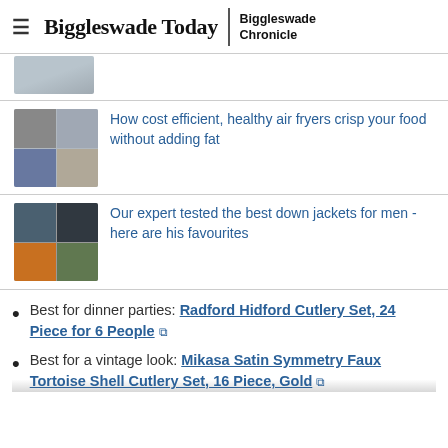Biggleswade Today | Biggleswade Chronicle
[Figure (photo): Partial thumbnail of bikes/cycling equipment at top of article list]
How cost efficient, healthy air fryers crisp your food without adding fat
[Figure (photo): Thumbnail of air fryers and person cooking]
Our expert tested the best down jackets for men - here are his favourites
[Figure (photo): Grid of four jacket photos including dark and orange down jackets]
Best for dinner parties: Radford Hidford Cutlery Set, 24 Piece for 6 People [external link]
Best for a vintage look: Mikasa Satin Symmetry Faux Tortoise Shell Cutlery Set, 16 Piece, Gold [external link]